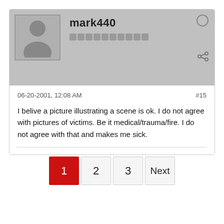[Figure (other): User avatar placeholder: gray silhouette of a person on gray background]
mark440
06-20-2001, 12:08 AM
#15
I belive a picture illustrating a scene is ok. I do not agree with pictures of victims. Be it medical/trauma/fire. I do not agree with that and makes me sick.
1
2
3
Next